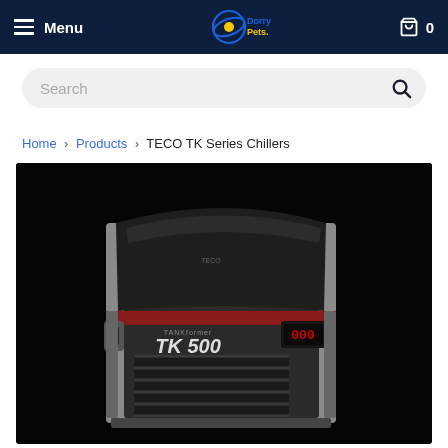Menu | Dorry Pets logo | Cart 0
Search
Home > Products > TECO TK Series Chillers
[Figure (photo): TECO TK 500 aquarium chiller unit. A compact silver and dark grey chiller with red accent stripe around the middle, black vented front panel, and a digital temperature display showing '000'. The branding reads 'TANKformer TK 500' on the front. Black background.]